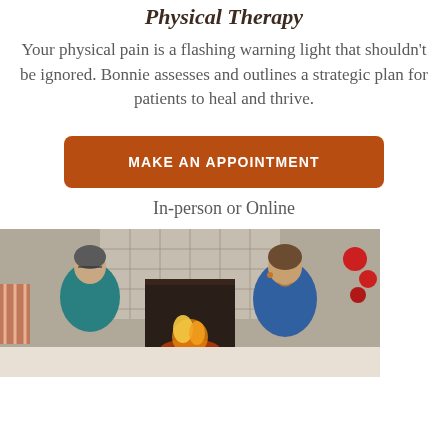Physical Therapy
Your physical pain is a flashing warning light that shouldn't be ignored. Bonnie assesses and outlines a strategic plan for patients to heal and thrive.
MAKE AN APPOINTMENT
In-person or Online
[Figure (photo): Two women sitting at a table in front of a fireplace, one in a teal sweater leaning forward, one in blue looking on, with decorative red balls visible to the right.]